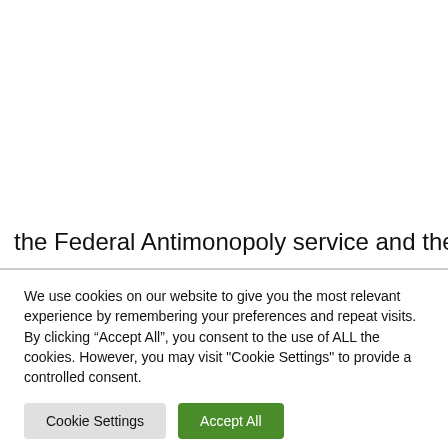the Federal Antimonopoly service and the Ministry of
We use cookies on our website to give you the most relevant experience by remembering your preferences and repeat visits. By clicking “Accept All”, you consent to the use of ALL the cookies. However, you may visit "Cookie Settings" to provide a controlled consent.